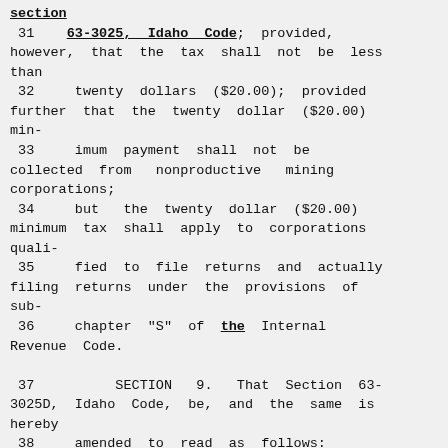...annual income as the rate provided in section
 31    63-3025, Idaho Code; provided, however, that the tax shall not be less than
 32     twenty dollars ($20.00); provided further that the twenty dollar ($20.00) min-
 33     imum payment shall not be collected from  nonproductive  mining corporations;
 34     but  the twenty dollar ($20.00) minimum tax shall apply to corporations quali-
 35     fied to file returns and actually filing returns under the provisions of sub-
 36     chapter "S" of the Internal Revenue Code.

 37          SECTION  9.  That Section 63-3025D, Idaho Code, be, and the same is hereby
 38     amended to read as follows: